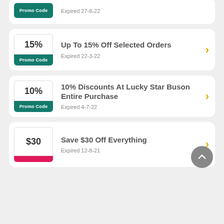[Figure (screenshot): Partial coupon card at top: Promo Code tag with 'Expired 27-8-22']
Up To 15% Off Selected Orders | Promo Code | Expired 22-3-22
10% Discounts At Lucky Star Buson Entire Purchase | Promo Code | Expired 4-7-22
Save $30 Off Everything | Expired 12-8-21